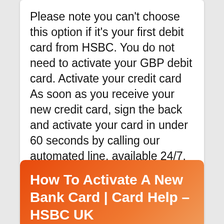Please note you can't choose this option if it's your first debit card from HSBC. You do not need to activate your GBP debit card. Activate your credit card As soon as you receive your new credit card, sign the back and activate your card in under 60 seconds by calling our automated line, available 24/7. Call: 0800 3281 370. More about using your card. Replacing your card . ...
How To Activate A New Bank Card | Card Help – HSBC UK